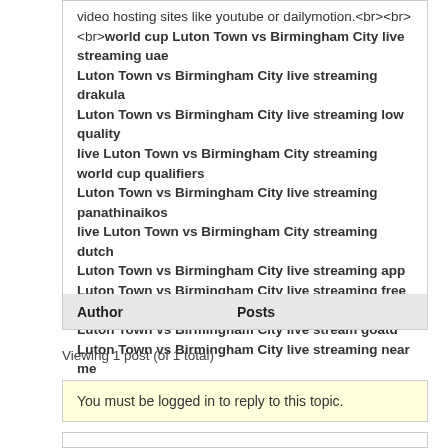video hosting sites like youtube or dailymotion.<br><br><br><b>world cup Luton Town vs Birmingham City live streaming uae
Luton Town vs Birmingham City live streaming drakula
Luton Town vs Birmingham City live streaming low quality
live Luton Town vs Birmingham City streaming world cup qualifiers
Luton Town vs Birmingham City live streaming panathinaikos
live Luton Town vs Birmingham City streaming dutch
Luton Town vs Birmingham City live streaming app
Luton Town vs Birmingham City live streaming free websites
Luton Town vs Birmingham City live stream goatd
Luton Town vs Birmingham City live streaming near me
</b>
| Author | Posts |
| --- | --- |
Viewing 1 post (of 1 total)
You must be logged in to reply to this topic.